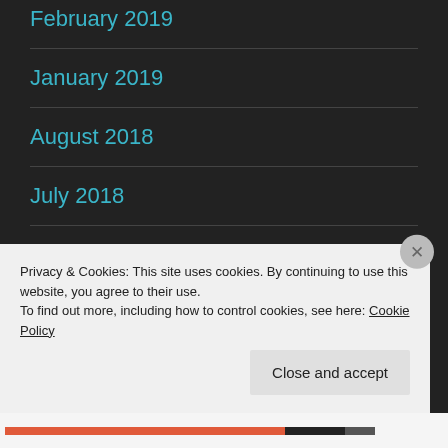February 2019
January 2019
August 2018
July 2018
June 2018
May 2018
Privacy & Cookies: This site uses cookies. By continuing to use this website, you agree to their use.
To find out more, including how to control cookies, see here: Cookie Policy
Close and accept